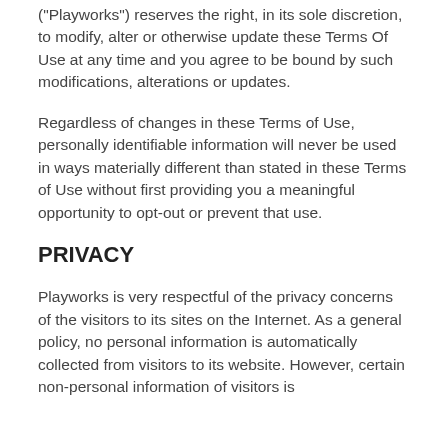("Playworks") reserves the right, in its sole discretion, to modify, alter or otherwise update these Terms Of Use at any time and you agree to be bound by such modifications, alterations or updates.
Regardless of changes in these Terms of Use, personally identifiable information will never be used in ways materially different than stated in these Terms of Use without first providing you a meaningful opportunity to opt-out or prevent that use.
PRIVACY
Playworks is very respectful of the privacy concerns of the visitors to its sites on the Internet. As a general policy, no personal information is automatically collected from visitors to its website. However, certain non-personal information of visitors is